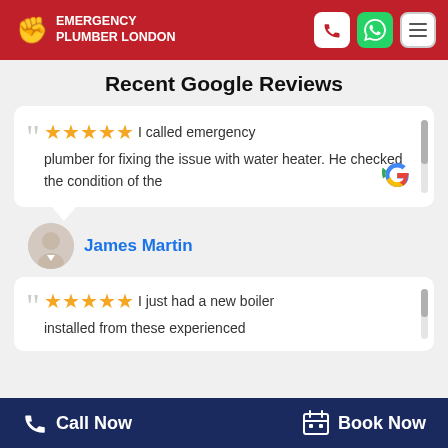Emergency Plumber London
Recent Google Reviews
I called emergency plumber for fixing the issue with water heater. He checked the condition of the
James Martin
I just had a new boiler installed from these experienced
Call Now   Book Now